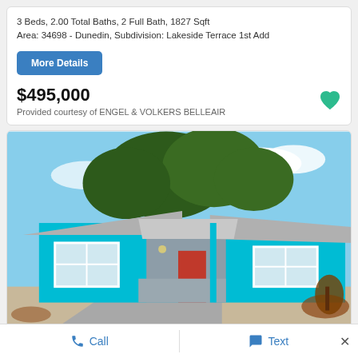3 Beds, 2.00 Total Baths, 2 Full Bath, 1827 Sqft
Area: 34698 - Dunedin, Subdivision: Lakeside Terrace 1st Add
More Details
$495,000
Provided courtesy of ENGEL & VOLKERS BELLEAIR
[Figure (photo): Exterior photo of a teal/turquoise single-story house with grey brick accents, a red front door, white trim roof, and landscaping in front. Blue sky with clouds visible in background.]
Call
Text